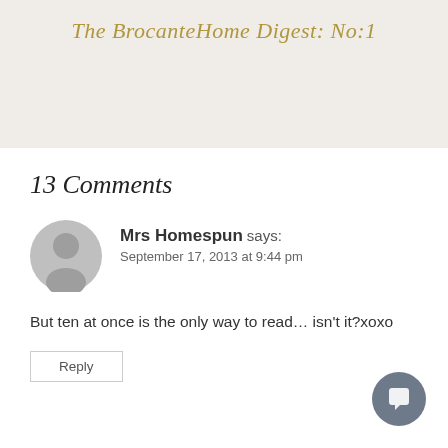The BrocanteHome Digest: No:1
13 Comments
[Figure (illustration): Gray circular user avatar icon with silhouette of a person]
Mrs Homespun says: September 17, 2013 at 9:44 pm
But ten at once is the only way to read… isn't it?xoxo
Reply